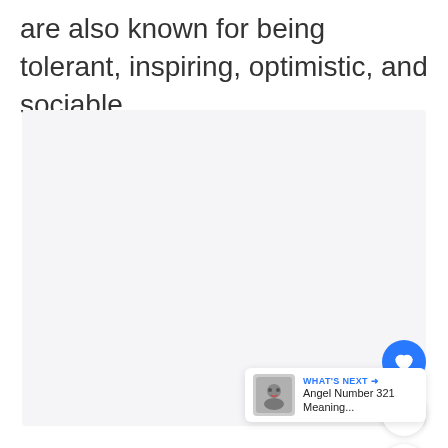are also known for being tolerant, inspiring, optimistic, and sociable.
[Figure (other): Large light gray placeholder image area occupying most of the lower page, with UI overlay elements: a blue heart/like button, a share button, a count badge showing '2', and a 'What's Next' card showing 'Angel Number 321 Meaning...']